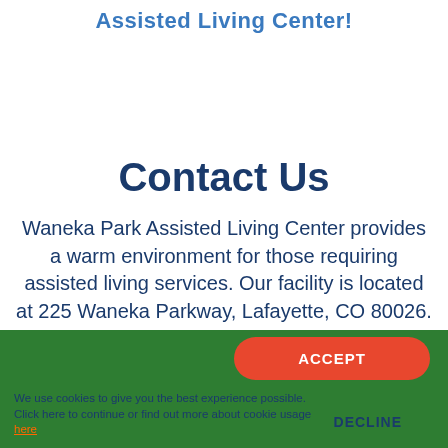Assisted Living Center!
Contact Us
Waneka Park Assisted Living Center provides a warm environment for those requiring assisted living services. Our facility is located at 225 Waneka Parkway, Lafayette, CO 80026. Please select one of the links below to either call, email or interact with us on FaceBook. We look forward to hearing from you.
We use cookies to give you the best experience possible. Click here to continue or find out more about cookie usage here
ACCEPT
DECLINE